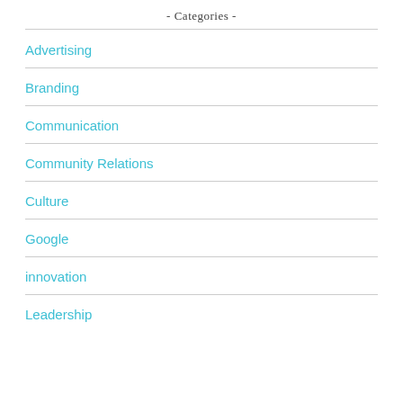- Categories -
Advertising
Branding
Communication
Community Relations
Culture
Google
innovation
Leadership